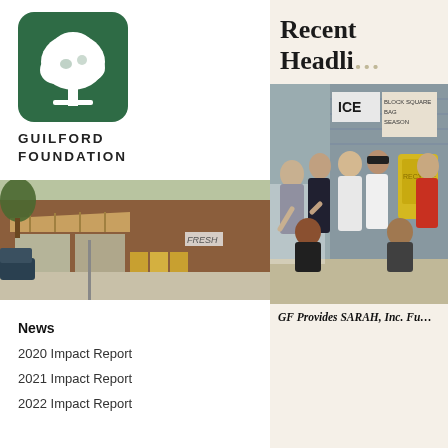[Figure (logo): Guilford Foundation logo: green rounded square with white tree, text GUILFORD FOUNDATION below]
[Figure (photo): Street-level photo of a small-town storefront with awnings, produce displayed outside, trees in background]
News
2020 Impact Report
2021 Impact Report
2022 Impact Report
Recent Headli…
[Figure (photo): Group photo of approximately 10 people standing and kneeling outside a building with an ICE sign visible]
GF Provides SARAH, Inc. Fu…